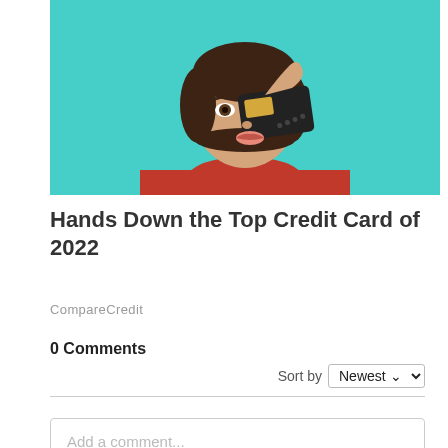[Figure (photo): Woman with short dark hair wearing a red turtleneck sweater, holding a black credit card up to cover one eye, posing against a teal/turquoise background.]
Hands Down the Top Credit Card of 2022
CompareCredit
0 Comments
Sort by Newest
Add a comment...